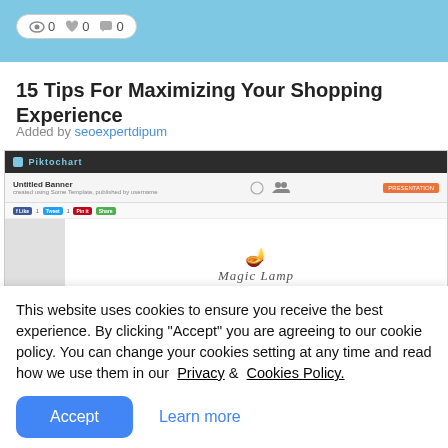👁 0  ♥ 0  💬 0
15 Tips For Maximizing Your Shopping Experience
Added by seoexpertdipum
[Figure (screenshot): Screenshot of a Piktochart webpage showing an 'Untitled Banner' project with a Magic Lamp logo design partially visible]
This website uses cookies to ensure you receive the best experience. By clicking "Accept" you are agreeing to our cookie policy. You can change your cookies setting at any time and read how we use them in our  Privacy &  Cookies Policy.
Accept   Learn more